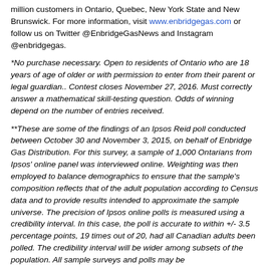million customers in Ontario, Quebec, New York State and New Brunswick. For more information, visit www.enbridgegas.com or follow us on Twitter @EnbridgeGasNews and Instagram @enbridgegas.
*No purchase necessary. Open to residents of Ontario who are 18 years of age of older or with permission to enter from their parent or legal guardian.. Contest closes November 27, 2016. Must correctly answer a mathematical skill-testing question. Odds of winning depend on the number of entries received.
**These are some of the findings of an Ipsos Reid poll conducted between October 30 and November 3, 2015, on behalf of Enbridge Gas Distribution. For this survey, a sample of 1,000 Ontarians from Ipsos' online panel was interviewed online. Weighting was then employed to balance demographics to ensure that the sample's composition reflects that of the adult population according to Census data and to provide results intended to approximate the sample universe. The precision of Ipsos online polls is measured using a credibility interval. In this case, the poll is accurate to within +/- 3.5 percentage points, 19 times out of 20, had all Canadian adults been polled. The credibility interval will be wider among subsets of the population. All sample surveys and polls may be